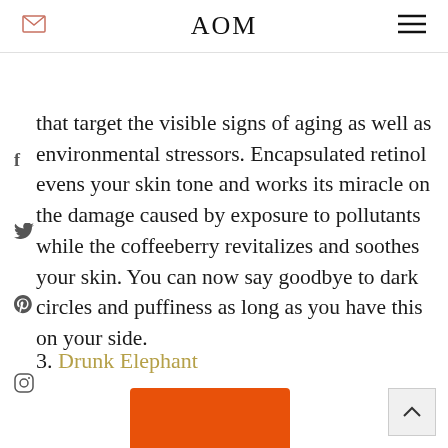AOM
that target the visible signs of aging as well as environmental stressors. Encapsulated retinol evens your skin tone and works its miracle on the damage caused by exposure to pollutants while the coffeeberry revitalizes and soothes your skin. You can now say goodbye to dark circles and puffiness as long as you have this on your side.
3. Drunk Elephant
[Figure (photo): Orange and white product bottle/container for Drunk Elephant skincare product]